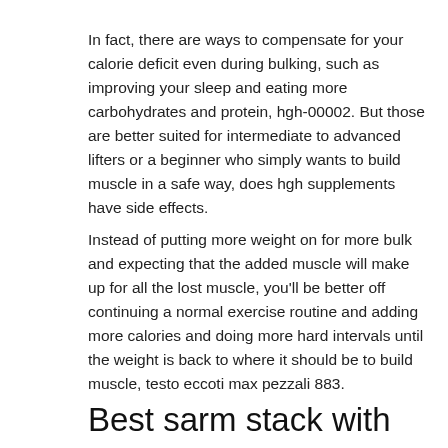In fact, there are ways to compensate for your calorie deficit even during bulking, such as improving your sleep and eating more carbohydrates and protein, hgh-00002. But those are better suited for intermediate to advanced lifters or a beginner who simply wants to build muscle in a safe way, does hgh supplements have side effects.
Instead of putting more weight on for more bulk and expecting that the added muscle will make up for all the lost muscle, you'll be better off continuing a normal exercise routine and adding more calories and doing more hard intervals until the weight is back to where it should be to build muscle, testo eccoti max pezzali 883.
Best sarm stack with